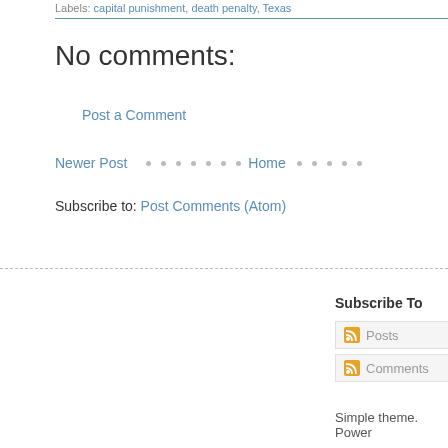Labels: capital punishment, death penalty, Texas
No comments:
Post a Comment
Newer Post · · · · · · · Home · · · · ·
Subscribe to: Post Comments (Atom)
Subscribe To
Posts
Comments
Simple theme. Power